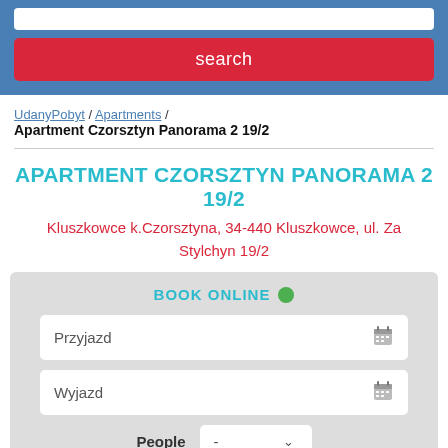[Figure (screenshot): Blue header bar with a white search input box and a red search button labeled 'search']
UdanyPobyt / Apartments / Apartment Czorsztyn Panorama 2 19/2
APARTMENT CZORSZTYN PANORAMA 2 19/2
Kluszkowce k.Czorsztyna, 34-440 Kluszkowce, ul. Za Stylchyn 19/2
BOOK ONLINE
Przyjazd
Wyjazd
People -